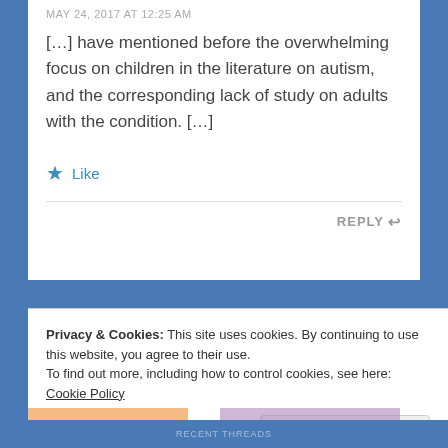MAY 24, 2017 AT 12:25 AM
[…] have mentioned before the overwhelming focus on children in the literature on autism, and the corresponding lack of study on adults with the condition. […]
★ Like
REPLY ↩
Privacy & Cookies: This site uses cookies. By continuing to use this website, you agree to their use.
To find out more, including how to control cookies, see here: Cookie Policy
Close and accept